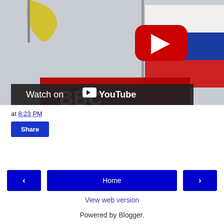[Figure (screenshot): YouTube video thumbnail showing BBC News logo on red background with flags (yellow and Russian tricolor) in background. Red YouTube play button visible at top center. Bottom bar reads 'Watch on YouTube' with YouTube icon.]
at 8:23 PM
Share
< (previous)
Home
> (next)
View web version
Powered by Blogger.